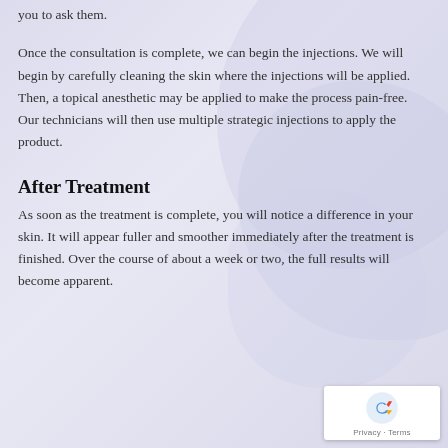you to ask them.
Once the consultation is complete, we can begin the injections. We will begin by carefully cleaning the skin where the injections will be applied. Then, a topical anesthetic may be applied to make the process pain-free. Our technicians will then use multiple strategic injections to apply the product.
After Treatment
As soon as the treatment is complete, you will notice a difference in your skin. It will appear fuller and smoother immediately after the treatment is finished. Over the course of about a week or two, the full results will become apparent.